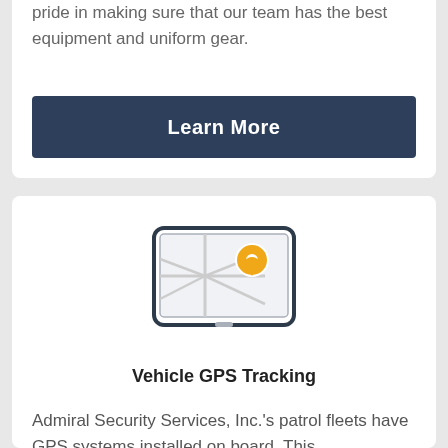pride in making sure that our team has the best equipment and uniform gear.
Learn More
[Figure (illustration): GPS navigation device icon showing a map with road lines and a yellow location pin marker on a tablet-like device with a dark border]
Vehicle GPS Tracking
Admiral Security Services, Inc.'s patrol fleets have GPS systems installed on board. This